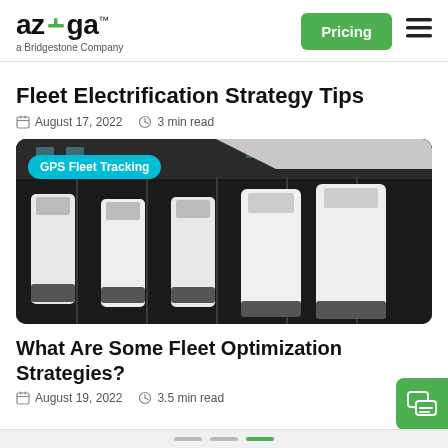azuga a Bridgestone Company | Pricing
Fleet Electrification Strategy Tips
August 17, 2022   3 min read
[Figure (photo): Aerial top-down view of white fleet vans parked in a dark parking lot, with a GPS Fleet Tracking badge overlay]
What Are Some Fleet Optimization Strategies?
August 19, 2022   3.5 min read